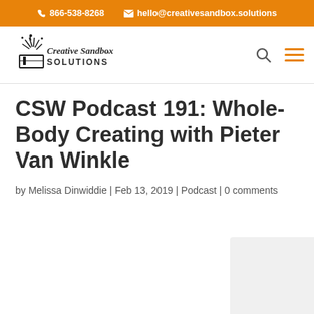866-538-8268   hello@creativesandbox.solutions
[Figure (logo): Creative Sandbox Solutions logo with fireworks graphic]
CSW Podcast 191: Whole-Body Creating with Pieter Van Winkle
by Melissa Dinwiddie | Feb 13, 2019 | Podcast | 0 comments